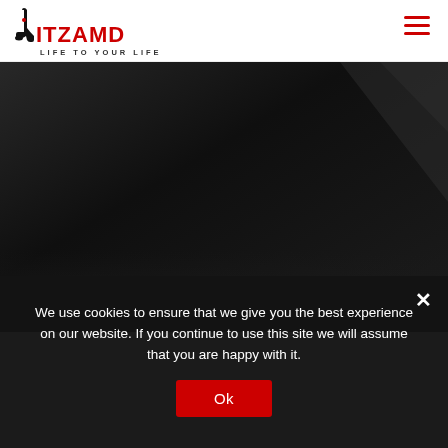[Figure (logo): NITZAMD logo with high heel shoe icon in black, red text, and tagline LIFE TO YOUR LIFE]
[Figure (illustration): Dark black/charcoal gradient hero background area]
We use cookies to ensure that we give you the best experience on our website. If you continue to use this site we will assume that you are happy with it.
Ok